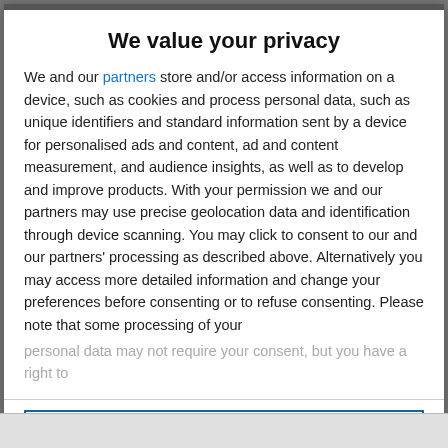We value your privacy
We and our partners store and/or access information on a device, such as cookies and process personal data, such as unique identifiers and standard information sent by a device for personalised ads and content, ad and content measurement, and audience insights, as well as to develop and improve products. With your permission we and our partners may use precise geolocation data and identification through device scanning. You may click to consent to our and our partners' processing as described above. Alternatively you may access more detailed information and change your preferences before consenting or to refuse consenting. Please note that some processing of your personal data may not require your consent, but you have a right to
OK
MORE OPTIONS